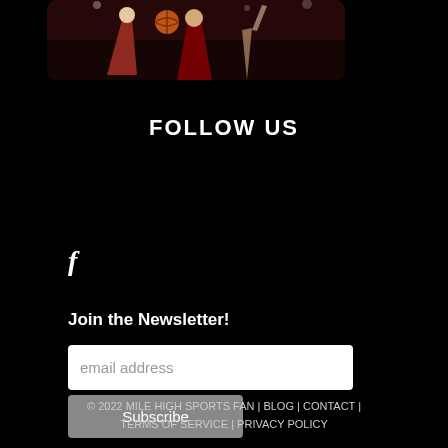[Figure (photo): Basketball game action photo showing players with a basketball, dark arena background, displayed in a rounded rectangle frame]
FOLLOW US
f
Join the Newsletter!
email address
Subscribe
© 2022 MILE HIGH SPORTS FAN | BLOG | CONTACT | TERMS OF SERVICE | PRIVACY POLICY